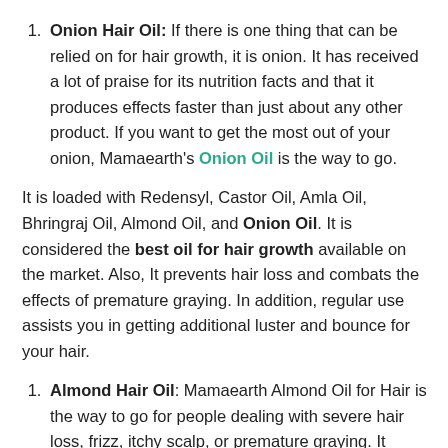Onion Hair Oil: If there is one thing that can be relied on for hair growth, it is onion. It has received a lot of praise for its nutrition facts and that it produces effects faster than just about any other product. If you want to get the most out of your onion, Mamaearth's Onion Oil is the way to go.
It is loaded with Redensyl, Castor Oil, Amla Oil, Bhringraj Oil, Almond Oil, and Onion Oil. It is considered the best oil for hair growth available on the market. Also, It prevents hair loss and combats the effects of premature graying. In addition, regular use assists you in getting additional luster and bounce for your hair.
Almond Hair Oil: Mamaearth Almond Oil for Hair is the way to go for people dealing with severe hair loss, frizz, itchy scalp, or premature graying. It contains moisturizing